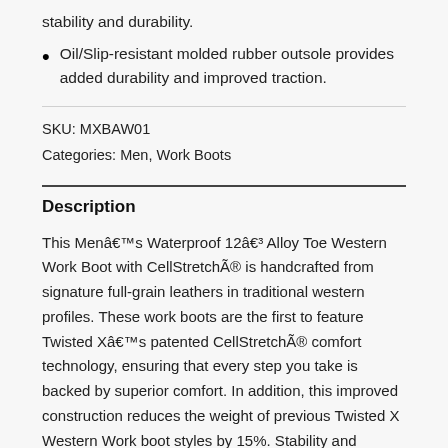stability and durability.
Oil/Slip-resistant molded rubber outsole provides added durability and improved traction.
SKU: MXBAW01
Categories: Men, Work Boots
Description
This Menâ€™s Waterproof 12â€³ Alloy Toe Western Work Boot with CellStretchÃ® is handcrafted from signature full-grain leathers in traditional western profiles. These work boots are the first to feature Twisted Xâ€™s patented CellStretchÃ® comfort technology, ensuring that every step you take is backed by superior comfort. In addition, this improved construction reduces the weight of previous Twisted X Western Work boot styles by 15%. Stability and durability are essential to a quality work boot and these boots deliver. The construction process uses a world...